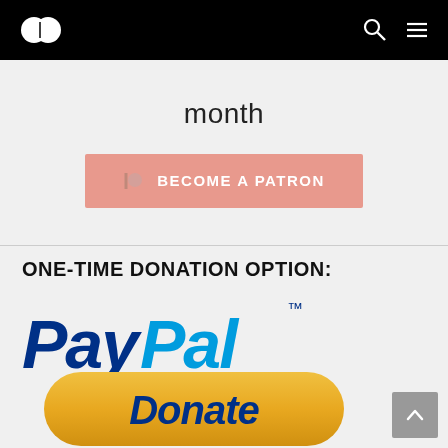Navigation bar with logo, search, and menu icons
month
[Figure (logo): Become a Patron button with Patreon logo (pink/salmon background, white text)]
ONE-TIME DONATION OPTION:
[Figure (logo): PayPal logo in blue italic font on light gray background]
[Figure (logo): PayPal Donate button with golden/yellow rounded rectangle and dark blue italic Donate text]